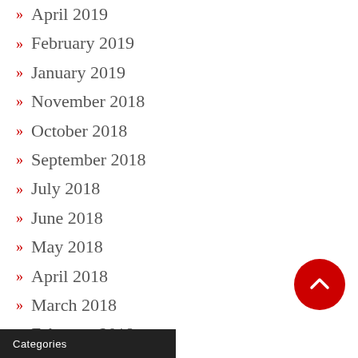April 2019
February 2019
January 2019
November 2018
October 2018
September 2018
July 2018
June 2018
May 2018
April 2018
March 2018
February 2018
January 2018